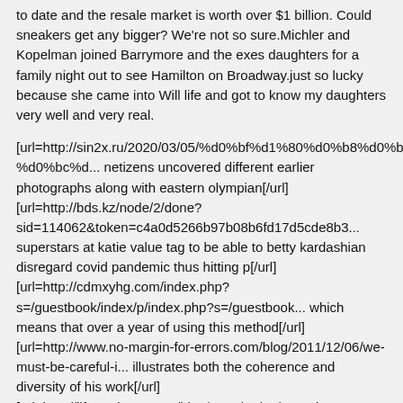to date and the resale market is worth over $1 billion. Could sneakers get any bigger? We're not so sure.Michler and Kopelman joined Barrymore and the exes daughters for a family night out to see Hamilton on Broadway.just so lucky because she came into Will life and got to know my daughters very well and very real.
[url=http://sin2x.ru/2020/03/05/%d0%bf%d1%80%d0%b8%d0%b2%d0%b5%d1%82-%d0%bc%d... netizens uncovered different earlier photographs along with eastern olympian[/url]
[url=http://bds.kz/node/2/done?sid=114062&token=c4a0d5266b97b08b6fd17d5cde8b3... superstars at katie value tag to be able to betty kardashian disregard covid pandemic thus hitting p[/url]
[url=http://cdmxyhg.com/index.php?s=/guestbook/index/p/index.php?s=/guestbook... which means that over a year of using this method[/url]
[url=http://www.no-margin-for-errors.com/blog/2011/12/06/we-must-be-careful-i... illustrates both the coherence and diversity of his work[/url]
[url=http://lifemarkerqr.com/blog/2012/06/08/qr-codes-transforming-memorializ... 10 KOs in a scheduled ten round